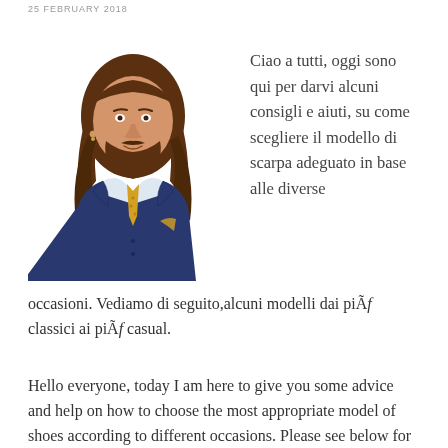25 FEBRUARY 2018
[Figure (illustration): Cartoon illustration of a stylish man with long brown hair and beard, wearing a blue suit with a gold/yellow tie and pocket square.]
Ciao a tutti, oggi sono qui per darvi alcuni consigli e aiuti, su come scegliere il modello di scarpa adeguato in base alle diverse occasioni. Vediamo di seguito,alcuni modelli dai piÃƒ classici ai piÃƒ casual.
Hello everyone, today I am here to give you some advice and help on how to choose the most appropriate model of shoes according to different occasions. Please see below for my